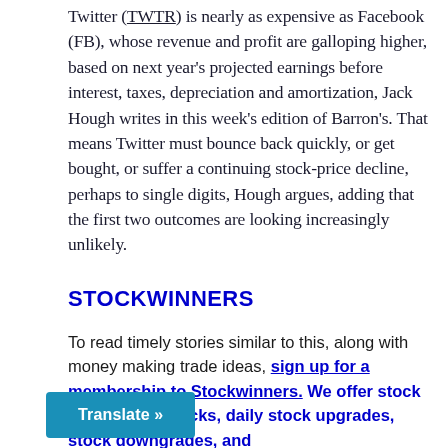Twitter (TWTR) is nearly as expensive as Facebook (FB), whose revenue and profit are galloping higher, based on next year's projected earnings before interest, taxes, depreciation and amortization, Jack Hough writes in this week's edition of Barron's. That means Twitter must bounce back quickly, or get bought, or suffer a continuing stock-price decline, perhaps to single digits, Hough argues, adding that the first two outcomes are looking increasingly unlikely.
STOCKWINNERS
To read timely stories similar to this, along with money making trade ideas, sign up for a membership to Stockwinners. We offer stock picks, option picks, daily stock upgrades, stock downgrades, and